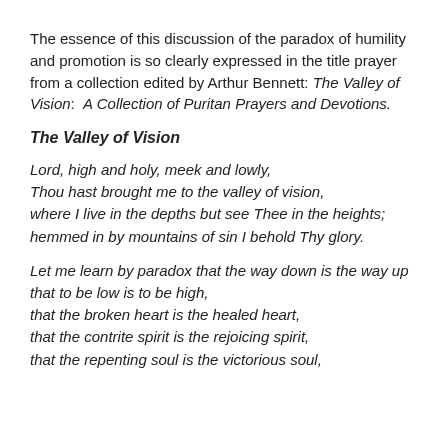The essence of this discussion of the paradox of humility and promotion is so clearly expressed in the title prayer from a collection edited by Arthur Bennett: The Valley of Vision:  A Collection of Puritan Prayers and Devotions.
The Valley of Vision
Lord, high and holy, meek and lowly,
Thou hast brought me to the valley of vision,
where I live in the depths but see Thee in the heights;
hemmed in by mountains of sin I behold Thy glory.
Let me learn by paradox that the way down is the way up
that to be low is to be high,
that the broken heart is the healed heart,
that the contrite spirit is the rejoicing spirit,
that the repenting soul is the victorious soul,